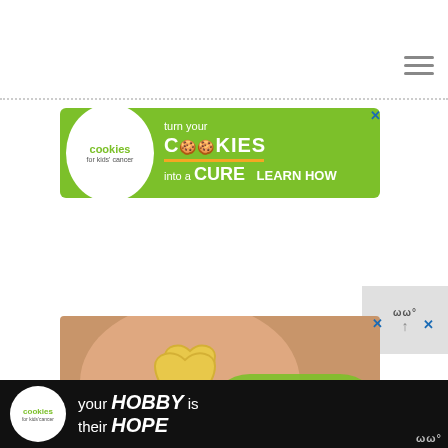[Figure (other): Hamburger/menu icon with three horizontal lines, top right corner]
[Figure (other): Dotted horizontal separator line across the page]
[Figure (other): Cookies for Kids Cancer advertisement banner - green background with white circular logo on left showing 'cookies for kids cancer', text reads 'turn your COOKIES into a CURE LEARN HOW' with orange underline bar, close X button top right]
[Figure (other): Weather widget on right side showing partial weather icon and up arrow]
[Figure (other): Cookies for Kids Cancer image advertisement - photo of hands holding heart-shaped cookie, green rounded overlay bottom right with cookies for kids cancer logo text]
[Figure (other): Footer bar advertisement - dark/black background, Cookies for Kids Cancer circular logo, text reads 'your HOBBY is their HOPE', close X button, weather widget bottom right showing temperature]